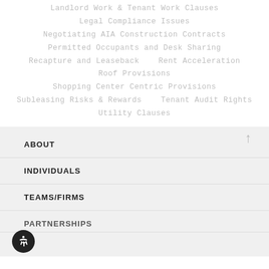Landlord Work & Tenant Work Clauses
Legal Compliance Issues
Negotiating AIA Construction Contracts
Permitted Occupants and Desk Sharing
Recapture and Leaseback    Rent Acceleration
Roof Provisions
Shopping Center Centric Provisions
Subleasing Risks & Rewards    Tenant Audit Rights
Utility Clauses
ABOUT
INDIVIDUALS
TEAMS/FIRMS
PARTNERSHIPS